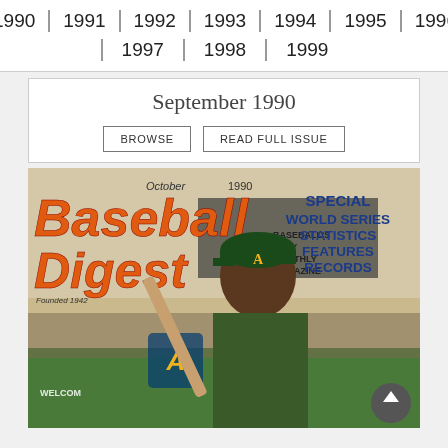1990 | 1991 | 1992 | 1993 | 1994 | 1995 | 1996
1997 | 1998 | 1999
September 1990
BROWSE   READ FULL ISSUE
[Figure (photo): Baseball Digest magazine cover, October 1990. Large orange italic title 'Baseball Digest' on left. Text: 'BASEBALL'S ONLY MONTHLY MAGAZINE Founded 1942'. Right side in dark blue bold: 'SPECIAL WORLD SERIES STATISTICS FEATURES RECORDS'. Cover features a baseball player wearing an Oakland Athletics (A's) green uniform and cap, holding a bat, standing in front of a stadium scoreboard.]